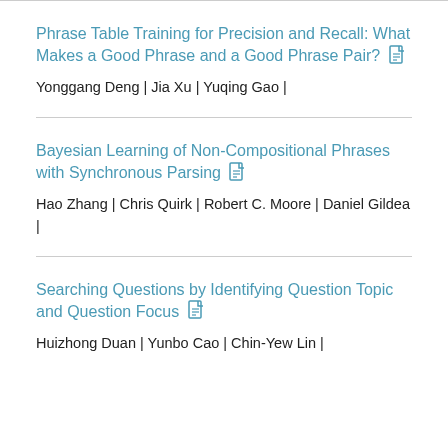Phrase Table Training for Precision and Recall: What Makes a Good Phrase and a Good Phrase Pair?
Yonggang Deng | Jia Xu | Yuqing Gao |
Bayesian Learning of Non-Compositional Phrases with Synchronous Parsing
Hao Zhang | Chris Quirk | Robert C. Moore | Daniel Gildea |
Searching Questions by Identifying Question Topic and Question Focus
Huizhong Duan | Yunbo Cao | Chin-Yew Lin |